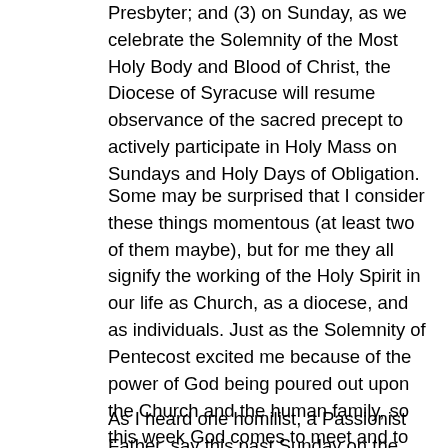Presbyter; and (3) on Sunday, as we celebrate the Solemnity of the Most Holy Body and Blood of Christ, the Diocese of Syracuse will resume observance of the sacred precept to actively participate in Holy Mass on Sundays and Holy Days of Obligation.
Some may be surprised that I consider these things momentous (at least two of them maybe), but for me they all signify the working of the Holy Spirit in our life as Church, as a diocese, and as individuals. Just as the Solemnity of Pentecost excited me because of the power of God being poured out upon the Church and the human family, so this week God comes to meet and to minister to us via the Sacraments of Holy Orders and of the Holy Eucharist.
As I heard one homilist, a Passionist Father, say this past Sunday on the Solemnity of the Most